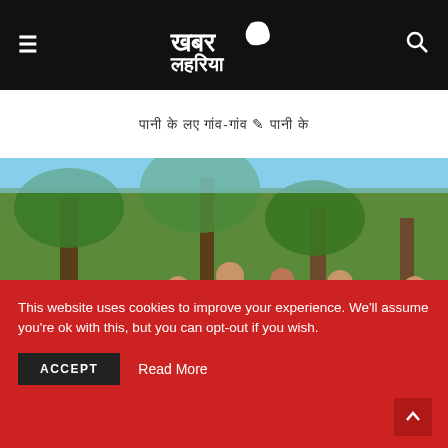☰ [Khabar Lahariya Logo] 🔍
पानी के लए गांव-गांव े पानी के
[Figure (photo): Group of women in colorful sarees standing outdoors under trees in a village setting]
This website uses cookies to improve your experience. We'll assume you're ok with this, but you can opt-out if you wish.
ACCEPT  Read More